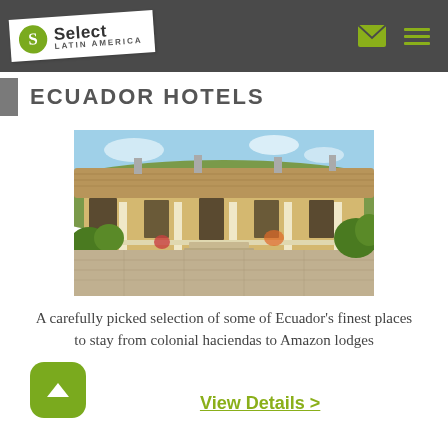Select Latin America
ECUADOR HOTELS
[Figure (photo): Photo of a colonial hacienda in Ecuador with tiled roof, white columns, stone patio, and lush greenery]
A carefully picked selection of some of Ecuador's finest places to stay from colonial haciendas to Amazon lodges
View Details >